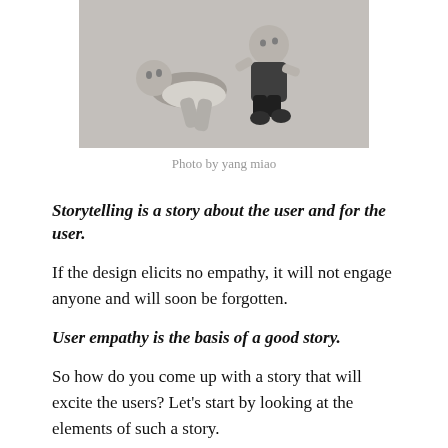[Figure (photo): Black and white photo of two young children, one lying on the floor and one standing over them, appearing to play or interact.]
Photo by yang miao
Storytelling is a story about the user and for the user.
If the design elicits no empathy, it will not engage anyone and will soon be forgotten.
User empathy is the basis of a good story.
So how do you come up with a story that will excite the users? Let's start by looking at the elements of such a story.